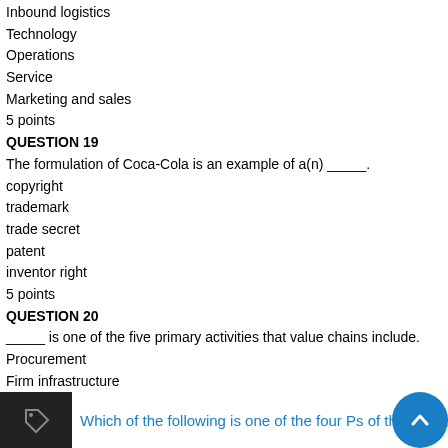Inbound logistics
Technology
Operations
Service
Marketing and sales
5 points
QUESTION 19
The formulation of Coca-Cola is an example of a(n) _____.
copyright
trademark
trade secret
patent
inventor right
5 points
QUESTION 20
_____ is one of the five primary activities that value chains include.
Procurement
Firm infrastructure
Technology
Human resource management
Inbound logistics
5 points
Which of the following is one of the four Ps of the marketing m...